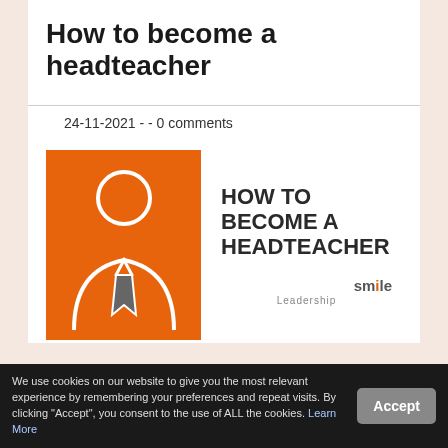How to become a headteacher
24-11-2021 - - 0 comments
[Figure (illustration): Book cover style image. Left half: orange rectangle with white outline of a person (head, shoulders, tie) icon. Right half: white background with bold dark text 'HOW TO BECOME A HEADTEACHER' and Smile Leadership logo at bottom right.]
Advice on how to become a
We use cookies on our website to give you the most relevant experience by remembering your preferences and repeat visits. By clicking "Accept", you consent to the use of ALL the cookies. Learn More